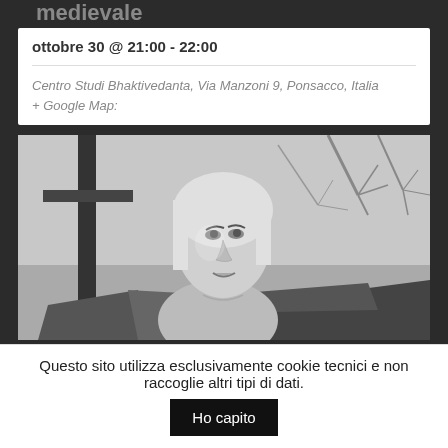medievale
ottobre 30 @ 21:00 - 22:00
Centro Studi Bhaktivedanta, Via Manzoni 9, Ponsacco, Italia
+ Google Map:
[Figure (photo): Black and white photo of a blonde woman looking upward, holding an open book, with bare trees in the background]
Questo sito utilizza esclusivamente cookie tecnici e non raccoglie altri tipi di dati.